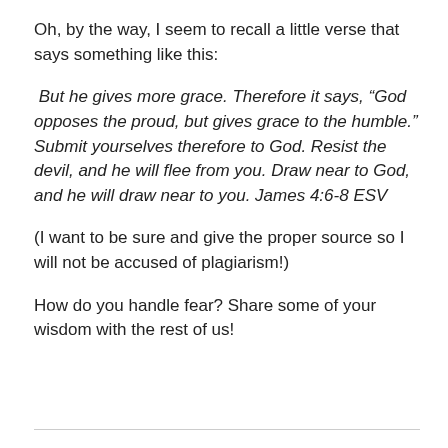Oh, by the way, I seem to recall a little verse that says something like this:
But he gives more grace. Therefore it says, “God opposes the proud, but gives grace to the humble.” Submit yourselves therefore to God. Resist the devil, and he will flee from you. Draw near to God, and he will draw near to you. James 4:6-8 ESV
(I want to be sure and give the proper source so I will not be accused of plagiarism!)
How do you handle fear? Share some of your wisdom with the rest of us!